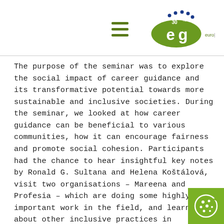Euroguidance 30 Years logo with hamburger menu
The purpose of the seminar was to explore the social impact of career guidance and its transformative potential towards more sustainable and inclusive societies. During the seminar, we looked at how career guidance can be beneficial to various communities, how it can encourage fairness and promote social cohesion. Participants had the chance to hear insightful key notes by Ronald G. Sultana and Helena Koštálová, visit two organisations – Mareena and Profesia – which are doing some highly important work in the field, and learn about other inclusive practices in Slovakia. They also played an active rol they developed several inspiring project ideas duri group activity. Hopefully many of these ideas will turn into full-scale projects and will see the light of the day